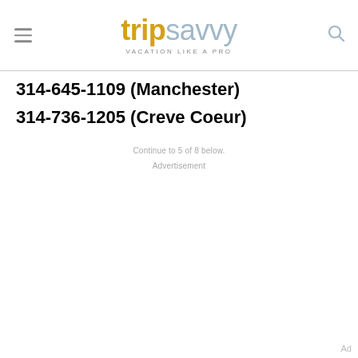tripsavvy VACATION LIKE A PRO
314-645-1109 (Manchester)
314-736-1205 (Creve Coeur)
Continue to 5 of 8 below.
Advertisement
Ad